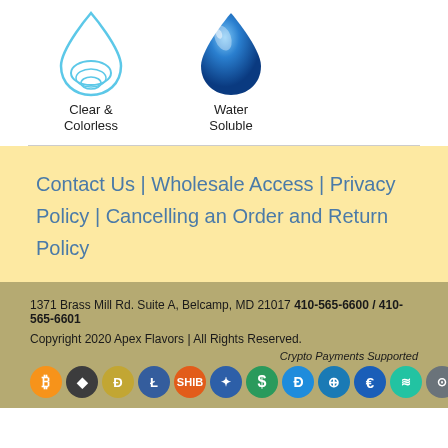[Figure (illustration): Two water drop icons: first is a light blue outlined drop labeled 'Clear & Colorless', second is a dark blue glossy drop labeled 'Water Soluble']
Clear & Colorless
Water Soluble
Contact Us | Wholesale Access | Privacy Policy | Cancelling an Order and Return Policy
1371 Brass Mill Rd. Suite A, Belcamp, MD 21017  410-565-6600 / 410-565-6601
Copyright 2020 Apex Flavors | All Rights Reserved.
Crypto Payments Supported
[Figure (illustration): Row of cryptocurrency coin icons: Bitcoin, Ethereum, Dogecoin, Litecoin, Shiba Inu, and others]